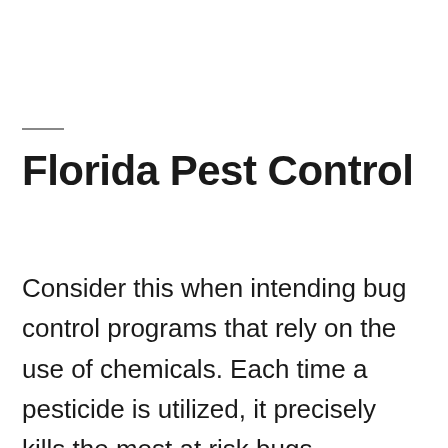Florida Pest Control
Consider this when intending bug control programs that rely on the use of chemicals. Each time a pesticide is utilized, it precisely kills the most at risk bugs. Parasites that are not destroyed